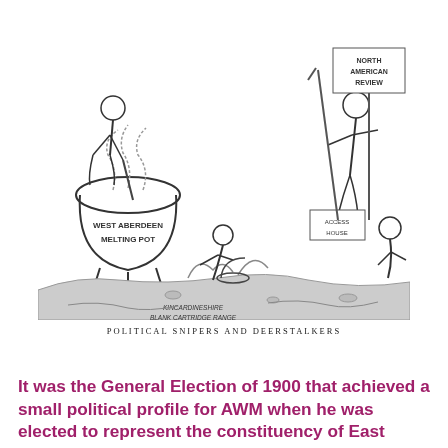[Figure (illustration): A political cartoon showing figures around a cauldron labelled 'WEST ABERDEEN MELTING POT', with signs reading 'KINCARDINESHIRE BLANK CARTRIDGE RANGE', 'NORTH AMERICAN REVIEW', and 'ACCESS HOUSE'. The cartoon is titled 'POLITICAL SNIPERS AND DEERSTALKERS'.]
POLITICAL SNIPERS AND DEERSTALKERS
It was the General Election of 1900 that achieved a small political profile for AWM when he was elected to represent the constituency of East Aberdeenshire. He'd stood on a Liberal Unionist  platform against the sitting Liberal member T. R. Buchanan a man who favoured Gladstone's Home Rule for Ireland agenda. In Maconochie's eyes Irish Members of Parliament, and by extension their supporters, through their demand for Home Rule threatened the very existence